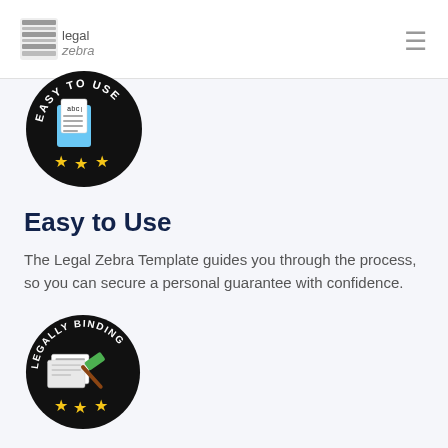[Figure (logo): Legal Zebra logo with zebra stripe icon and text 'legal zebra']
[Figure (illustration): Round black badge with 'EASY TO USE' text around edge, document with 'abc' icon in center, three yellow stars at bottom]
Easy to Use
The Legal Zebra Template guides you through the process, so you can secure a personal guarantee with confidence.
[Figure (illustration): Round black badge with 'LEGALLY BINDING' text around edge, document and gavel icon in center, three yellow stars at bottom]